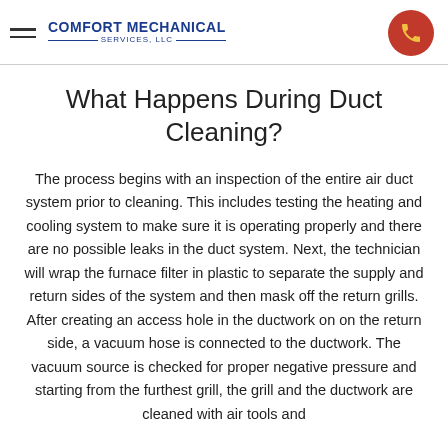COMFORT MECHANICAL SERVICES, LLC
What Happens During Duct Cleaning?
The process begins with an inspection of the entire air duct system prior to cleaning. This includes testing the heating and cooling system to make sure it is operating properly and there are no possible leaks in the duct system. Next, the technician will wrap the furnace filter in plastic to separate the supply and return sides of the system and then mask off the return grills. After creating an access hole in the ductwork on on the return side, a vacuum hose is connected to the ductwork. The vacuum source is checked for proper negative pressure and starting from the furthest grill, the grill and the ductwork are cleaned with air tools and